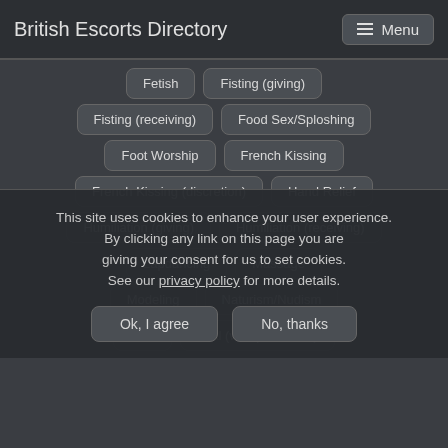British Escorts Directory  Menu
Fetish
Fisting (giving)
Fisting (receiving)
Food Sex/Sploshing
Foot Worship
French Kissing
French Kissing (discretion)
Hand Relief
Humiliation (giving)
Humiliation (receiving)
Lapdancing
Massage
Modeling
Naturism/Nudism
Oral
Oral (with protection)
This site uses cookies to enhance your user experience. By clicking any link on this page you are giving your consent for us to set cookies. See our privacy policy for more details.
Ok, I agree
No, thanks